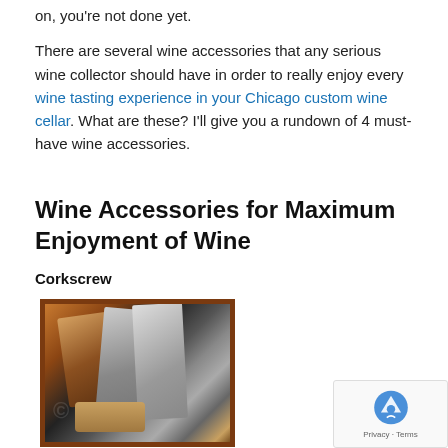on, you're not done yet.
There are several wine accessories that any serious wine collector should have in order to really enjoy every wine tasting experience in your Chicago custom wine cellar. What are these? I'll give you a rundown of 4 must-have wine accessories.
Wine Accessories for Maximum Enjoyment of Wine
Corkscrew
[Figure (photo): A photograph of wine corkscrews in a dark wooden box, showing metal corkscrew tools and a cork, framed with a brown/orange border.]